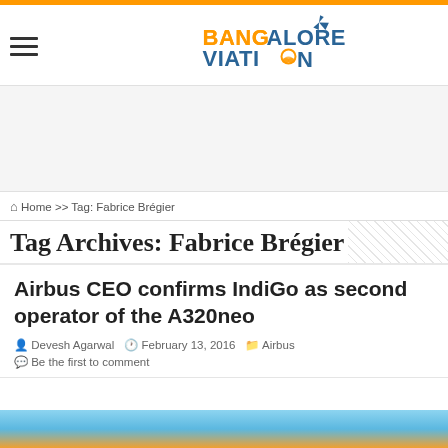[Figure (logo): Bangalore Aviation logo with orange and blue text and airplane icon]
Home >> Tag: Fabrice Brégier
Tag Archives: Fabrice Brégier
Airbus CEO confirms IndiGo as second operator of the A320neo
Devesh Agarwal   February 13, 2016   Airbus
Be the first to comment